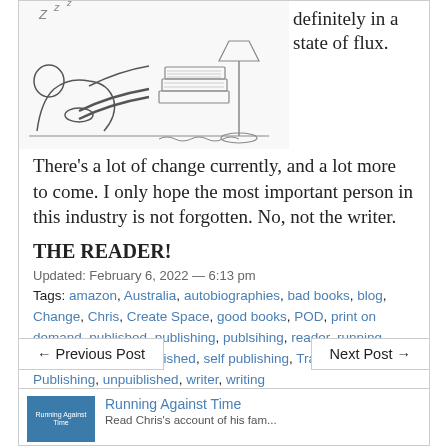[Figure (illustration): Line drawing of a person reclining/sleeping at a desk with stacked books and a lamp]
definitely in a state of flux. There's a lot of change currently, and a lot more to come. I only hope the most important person in this industry is not forgotten. No, not the writer.
THE READER!
Updated: February 6, 2022 — 6:13 pm
Tags: amazon, Australia, autobiographies, bad books, blog, Change, Chris, Create Space, good books, POD, print on demand, published, publishing, publsihing, reader, running against time, self published, self publishing, Traditional Publishing, unpuiblished, writer, writing
← Previous Post
Next Post →
Running Against Time
Read Chris's account of his fam...